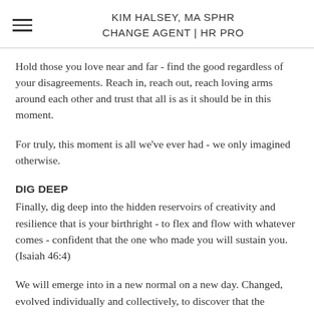KIM HALSEY, MA SPHR
CHANGE AGENT | HR PRO
Hold those you love near and far - find the good regardless of your disagreements. Reach in, reach out, reach loving arms around each other and trust that all is as it should be in this moment.
For truly, this moment is all we've ever had - we only imagined otherwise.
DIG DEEP
Finally, dig deep into the hidden reservoirs of creativity and resilience that is your birthright - to flex and flow with whatever comes - confident that the one who made you will sustain you. (Isaiah 46:4)
We will emerge into in a new normal on a new day. Changed, evolved individually and collectively, to discover that the answers that were once dormant within us have become puzzle pieces...